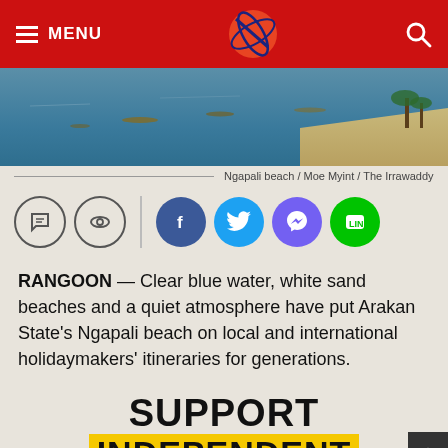MENU [hamburger icon] [logo] [search icon]
[Figure (photo): Aerial view of Ngapali beach with blue ocean water, boats, sandy shore and palm trees]
Ngapali beach / Moe Myint / The Irrawaddy
[Figure (infographic): Social sharing icons row: comment bubble, eye/view icon, divider, Facebook (blue), Twitter (light blue), Viber (purple), Line (green)]
RANGOON — Clear blue water, white sand beaches and a quiet atmosphere have put Arakan State's Ngapali beach on local and international holidaymakers' itineraries for generations.
SUPPORT
INDEPENDENT